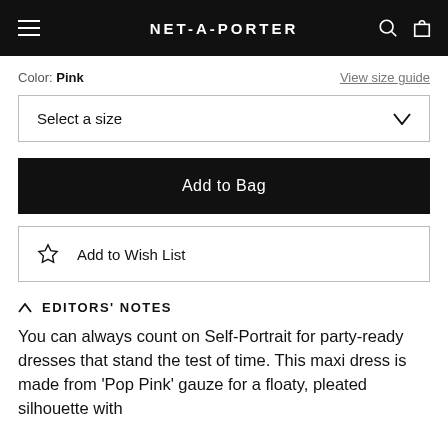NET-A-PORTER
Color: Pink
View size guide
Select a size
Add to Bag
Add to Wish List
EDITORS' NOTES
You can always count on Self-Portrait for party-ready dresses that stand the test of time. This maxi dress is made from 'Pop Pink' gauze for a floaty, pleated silhouette with